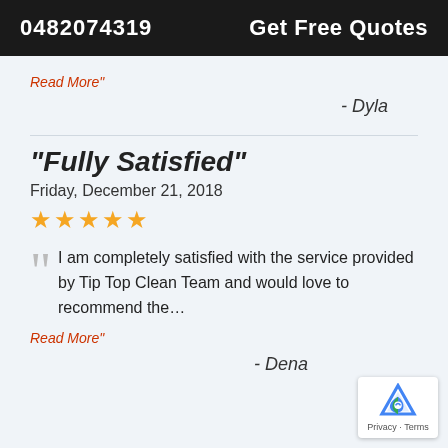0482074319    Get Free Quotes
Read More"
- Dyla
“Fully Satisfied”
Friday, December 21, 2018
★★★★★
I am completely satisfied with the service provided by Tip Top Clean Team and would love to recommend the…
Read More"
- Dena